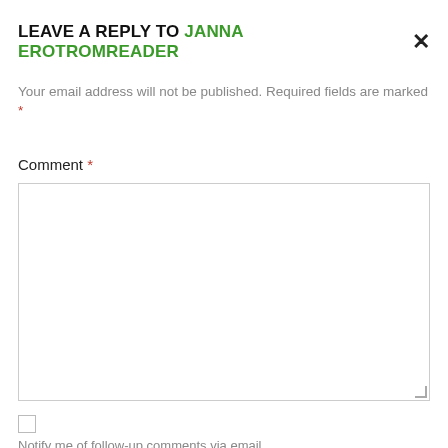LEAVE A REPLY TO JANNA EROTROMREADER
Your email address will not be published. Required fields are marked *
Comment *
[Figure (other): Empty comment textarea input field with resize handle]
[Figure (other): Checkbox (unchecked) for notification opt-in]
Notify me of follow-up comments via email.